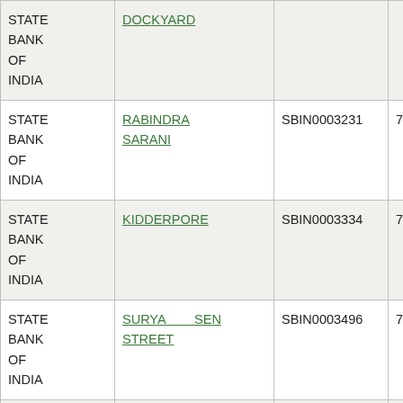| STATE BANK OF INDIA | DOCKYARD |  |  |
| STATE BANK OF INDIA | RABINDRA SARANI | SBIN0003231 | 700002084 |
| STATE BANK OF INDIA | KIDDERPORE | SBIN0003334 | 700002057 |
| STATE BANK OF INDIA | SURYA SEN STREET | SBIN0003496 | 700002099 |
| STATE BANK OF INDIA | NOTE PRESS SHALBONI | SBIN0003558 | 721002804 |